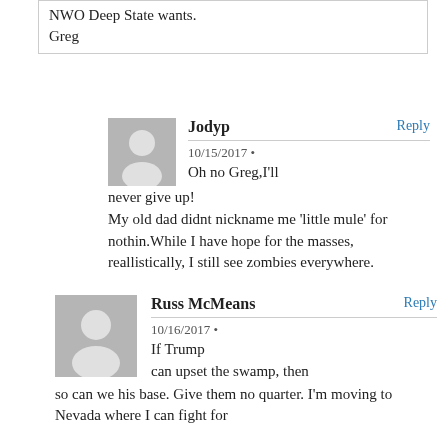NWO Deep State wants.
Greg
Jodyp
Reply
10/15/2017 •
Oh no Greg,I'll never give up!
My old dad didnt nickname me 'little mule' for nothin.While I have hope for the masses, reallistically, I still see zombies everywhere.
Russ McMeans
Reply
10/16/2017 •
If Trump can upset the swamp, then so can we his base. Give them no quarter. I'm moving to Nevada where I can fight for